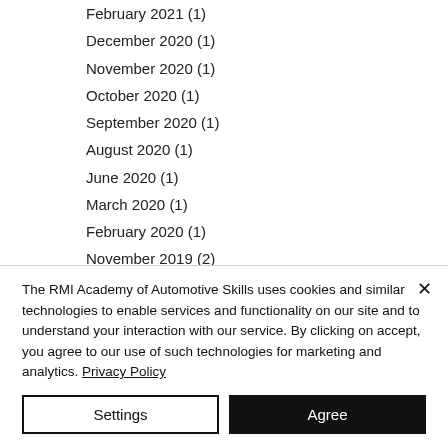February 2021 (1)
December 2020 (1)
November 2020 (1)
October 2020 (1)
September 2020 (1)
August 2020 (1)
June 2020 (1)
March 2020 (1)
February 2020 (1)
November 2019 (2)
October 2019 (1)
September 2019 (1)
The RMI Academy of Automotive Skills uses cookies and similar technologies to enable services and functionality on our site and to understand your interaction with our service. By clicking on accept, you agree to our use of such technologies for marketing and analytics. Privacy Policy